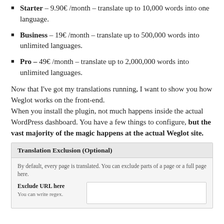Starter – 9.90€ /month – translate up to 10,000 words into one language.
Business – 19€ /month – translate up to 500,000 words into unlimited languages.
Pro – 49€ /month – translate up to 2,000,000 words into unlimited languages.
Now that I've got my translations running, I want to show you how Weglot works on the front-end. When you install the plugin, not much happens inside the actual WordPress dashboard. You have a few things to configure, but the vast majority of the magic happens at the actual Weglot site.
[Figure (screenshot): Translation Exclusion (Optional) UI panel with a label 'Exclude URL here / You can write regex.' and an input field on the right.]